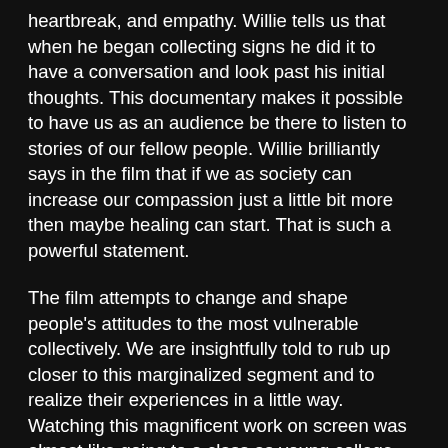heartbreak, and empathy. Willie tells us that when he began collecting signs he did it to have a conversation and look past his initial thoughts. This documentary makes it possible to have us as an audience be there to listen to stories of our fellow people. Willie brilliantly says in the film that if we as society can increase our compassion just a little bit more then maybe healing can start. That is such a powerful statement.
The film attempts to change and shape people's attitudes to the most vulnerable collectively. We are insightfully told to rub up closer to this marginalized segment and to realize their experiences in a little way. Watching this magnificent work on screen was almost like going to a class as young college students. The class would then teach us all what we had not had any connection to and would make us better men and women. In one highly informative scene, a homeless man who is a senior explains that he drinks alcohol to numb the loneliness. He then states that he went to college and to the military. In those two sentences we understand that he is in pain and at one time was just like that student with his headphones in. I know that empathy